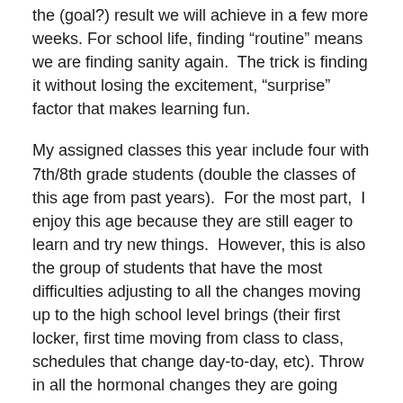the (goal?) result we will achieve in a few more weeks. For school life, finding “routine” means we are finding sanity again.  The trick is finding it without losing the excitement, “surprise” factor that makes learning fun.
My assigned classes this year include four with 7th/8th grade students (double the classes of this age from past years).  For the most part,  I enjoy this age because they are still eager to learn and try new things.  However, this is also the group of students that have the most difficulties adjusting to all the changes moving up to the high school level brings (their first locker, first time moving from class to class, schedules that change day-to-day, etc). Throw in all the hormonal changes they are going through and you can understand the “surprise” factor of daily life I am working through.